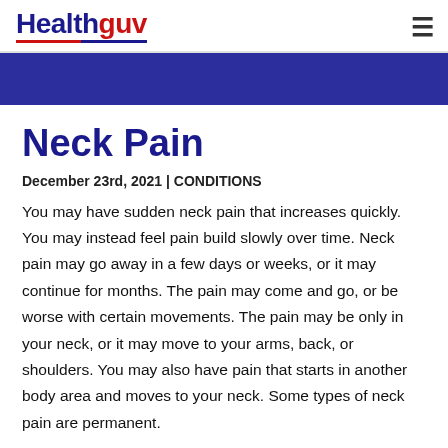Healthguv
Neck Pain
December 23rd, 2021 | CONDITIONS
You may have sudden neck pain that increases quickly. You may instead feel pain build slowly over time. Neck pain may go away in a few days or weeks, or it may continue for months. The pain may come and go, or be worse with certain movements. The pain may be only in your neck, or it may move to your arms, back, or shoulders. You may also have pain that starts in another body area and moves to your neck. Some types of neck pain are permanent.